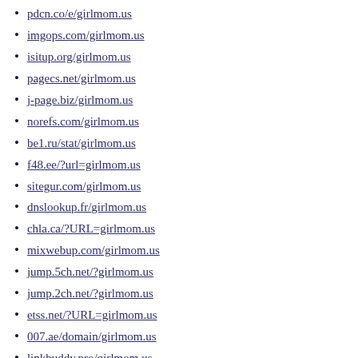pdcn.co/e/girlmom.us
imgops.com/girlmom.us
isitup.org/girlmom.us
pagecs.net/girlmom.us
j-page.biz/girlmom.us
norefs.com/girlmom.us
be1.ru/stat/girlmom.us
f48.ee/?url=girlmom.us
sitegur.com/girlmom.us
dnslookup.fr/girlmom.us
chla.ca/?URL=girlmom.us
mixwebup.com/girlmom.us
jump.5ch.net/?girlmom.us
jump.2ch.net/?girlmom.us
etss.net/?URL=girlmom.us
007.ae/domain/girlmom.us
linkbuddy.pro/girlmom.us
eletal.ir/www.girlmom.us
whoissoft.com/girlmom.us